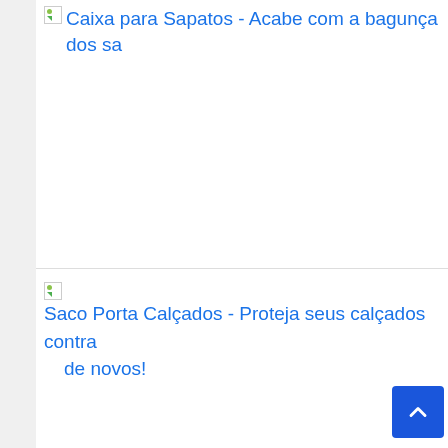[Figure (other): Broken image placeholder with alt text: Caixa para Sapatos - Acabe com a bagunça dos sa[patos]]
[Figure (other): Broken image placeholder with alt text: Saco Porta Calçados - Proteja seus calçados contra[poeira e mantenha-os como] de novos!]